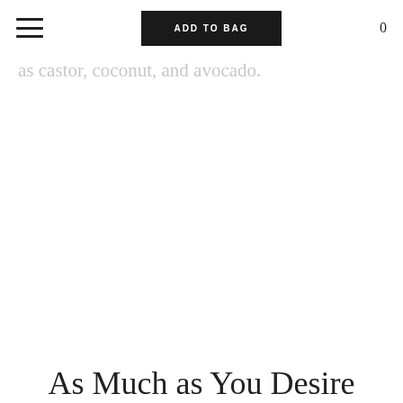These gorgeous lip tints provide both the perfect moisturization for the lips with ingredients such as castor, coconut, and avocado.
ADD TO BAG | 0
As Much as You Desire